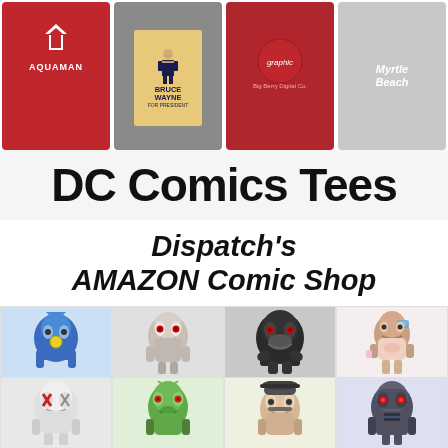[Figure (photo): Four DC Comics themed t-shirts displayed in a row: Aquaman red shirt, Bruce Wayne for President gray shirt, a red graphic tee, and a gray beach-text tee]
DC Comics Tees
Dispatch's AMAZON Comic Shop
[Figure (photo): Grid of DC Comics Funko Pop vinyl figures: Row 1 - Blue costumed hero, Superman with red eyes, black gorilla villain, Cyborg female character. Row 2 - White masked character with X, green alien with red eyes, man in fedora and glasses, robot/cyborg character]